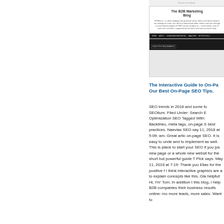[Figure (screenshot): Screenshot of 'The B2B Marketing Blog' website showing the blog header, title, description text, and dark navigation bar with menu items including HOME, ABOUT, GUIDES AND RESOURCES, ANALYZER, MY POSTS ELSEWHERE, and GUEST POST REQUIREMENTS]
The Interactive Guide to On-Page SEO: Our Best On-Page SEO Tips.
SEO trends in 2018 and some fo SEOlium. Filed Under: Search E Optimization SEO Tagged With: Backlinko, meta tags, on-page S best practices. Naevias SEO say 11, 2018 at 5:09: am. Great artic on-page SEO. It is easy to unde and to implement as well. This is place to start your SEO if you jus new page or a whole new websit for the short but powerful guide T Pick says. May 11, 2018 at 7:19: Thank you Elias for the positive f I think interactive graphics are a to explain concepts like this. Gla helpful! Hi, I'm' Tom. In addition t this blog, I help B2B companies their business results online: mo more leads, more sales. Want to